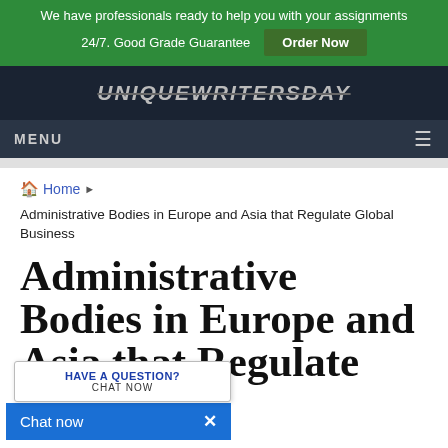We have professionals ready to help you with your assignments 24/7. Good Grade Guarantee Order Now
[Figure (screenshot): Dark navigation bar with logo text 'UNIQUEWRITERSDAY' in italic strikethrough style]
MENU
Home > Administrative Bodies in Europe and Asia that Regulate Global Business
Administrative Bodies in Europe and Asia that Regulate Global Business
[Figure (screenshot): Chat widget popup with 'HAVE A QUESTION? CHAT NOW' and blue 'Chat now x' bar at bottom]